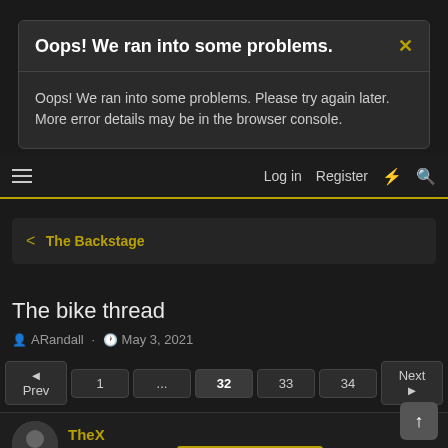Oops! We ran into some problems.
Oops! We ran into some problems. Please try again later. More error details may be in the browser console.
Log in  Register
The Backstage
The bike thread
ARandall · May 3, 2021
Prev  1  ...  32  33  34  Next
TheX
Not a Green Beret.  Gold Supporting Member